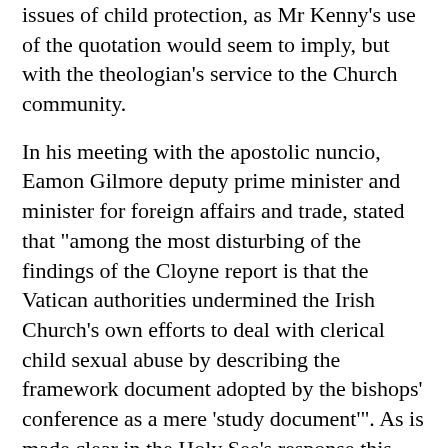issues of child protection, as Mr Kenny's use of the quotation would seem to imply, but with the theologian's service to the Church community.
In his meeting with the apostolic nuncio, Eamon Gilmore deputy prime minister and minister for foreign affairs and trade, stated that "among the most disturbing of the findings of the Cloyne report is that the Vatican authorities undermined the Irish Church's own efforts to deal with clerical child sexual abuse by describing the framework document adopted by the bishops' conference as a mere 'study document'". As is made clear in the Holy See's response this description was based on the explanations of its nature as provided by the Irish bishops and in the published text itself. In no way was it a dismissal of the serious efforts undertaken by the Irish bishops to address the scourge of child sexual abuse.
With regard to the motion passed in Dail Eireann on 20 July 2011, and by Seanad Eireann a week later, deploring "the Vatican's intervention which contributed to the undermining of the child protection framework and guidelines of the Irish